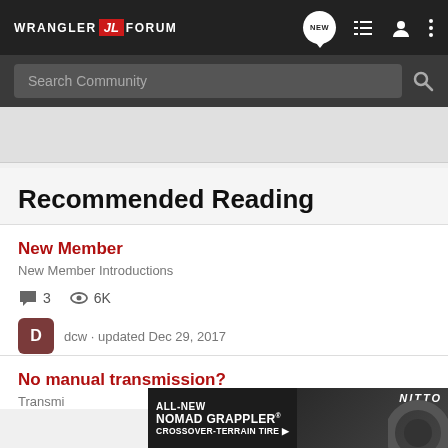WRANGLER [JL] FORUM
Search Community
Recommended Reading
New Member
New Member Introductions
3 comments  6K views
dcw · updated Dec 29, 2017
No manual transmission?
Transmi...
[Figure (photo): Nitto Nomad Grappler Crossover-Terrain Tire advertisement banner showing tire image]